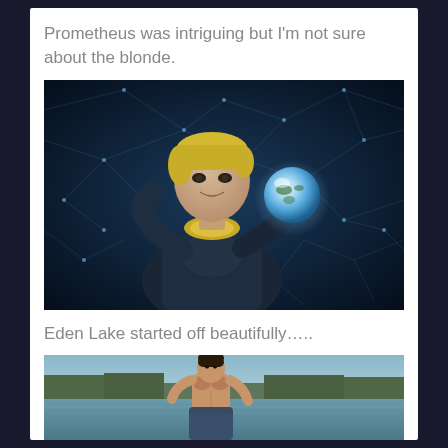Prometheus was intriguing but I'm not sure about the blonde.
[Figure (photo): A blonde man in futuristic armor/spacesuit holding a glowing orb resembling Earth, against a blue sci-fi background with geometric network lines. Scene from the movie Prometheus.]
Eden Lake started off beautifully…..
[Figure (photo): A shirtless muscular man standing in a lake with calm water and trees in background. Scene from the movie Eden Lake.]